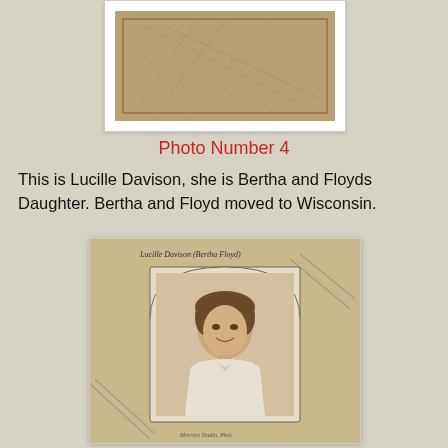[Figure (photo): Top portion of a vintage photo — brown leather-textured card back visible]
Photo Number 4
This is Lucille Davison, she is Bertha and Floyds Daughter. Bertha and Floyd moved to Wisconsin.
[Figure (photo): Vintage formal portrait photograph of a young girl (Lucille Davison, daughter of Bertha and Floyd) mounted on a decorative card with handwritten inscription 'Lucille Davison (Bertha Floyd)' at top and photographer's mark at bottom]